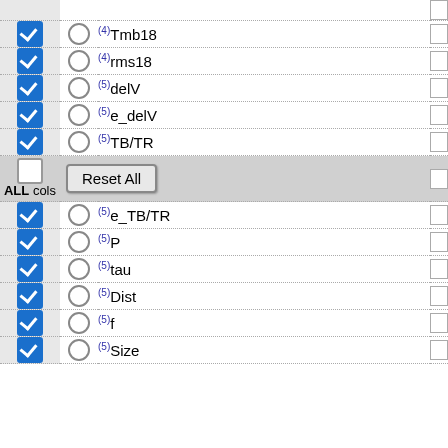| Select | Radio | Label | Box |
| --- | --- | --- | --- |
| ☑ | ○ | (4)Tmb18 |  |
| ☑ | ○ | (4)rms18 |  |
| ☑ | ○ | (5)delV |  |
| ☑ | ○ | (5)e_delV |  |
| ☑ | ○ | (5)TB/TR |  |
| ALL cols [Reset All] |  |  |  |
| ☑ | ○ | (5)e_TB/TR |  |
| ☑ | ○ | (5)P |  |
| ☑ | ○ | (5)tau |  |
| ☑ | ○ | (5)Dist |  |
| ☑ | ○ | (5)f |  |
| ☑ | ○ | (5)Size |  |